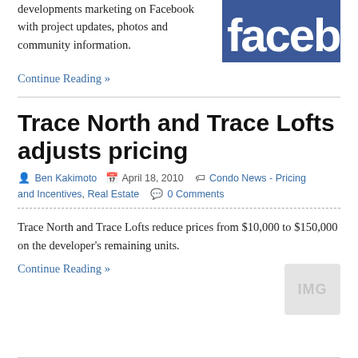developments marketing on Facebook with project updates, photos and community information.
[Figure (logo): Facebook logo - blue background with white 'facebook' text, partially cropped on the right]
Continue Reading »
Trace North and Trace Lofts adjusts pricing
Ben Kakimoto  April 18, 2010  Condo News - Pricing and Incentives, Real Estate  0 Comments
Trace North and Trace Lofts reduce prices from $10,000 to $150,000 on the developer's remaining units.
Continue Reading »